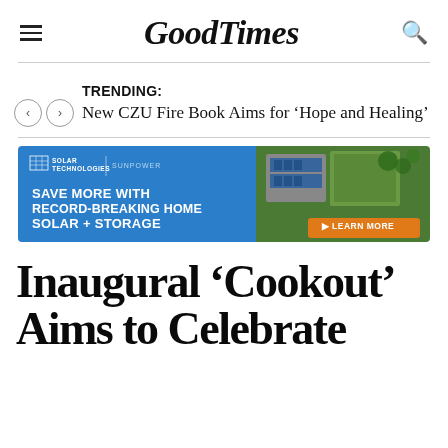GoodTimes
TRENDING: New CZU Fire Book Aims for ‘Hope and Healing’
[Figure (illustration): Solar Technologies SunPower advertisement banner: blue left panel with logo and text 'SAVE MORE WITH RECORD-BREAKING HOME SOLAR + STORAGE', right panel with aerial photo of house with solar panels and orange 'LEARN MORE' button]
Inaugural ‘Cookout’ Aims to Celebrate